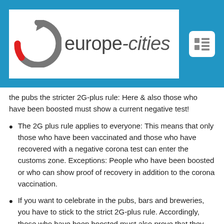[Figure (logo): europe-cities website logo with circular arrow icon on white background, set inside a blue header bar with a menu icon on the right]
the pubs the stricter 2G-plus rule: Here & also those who have been boosted must show a current negative test!
The 2G plus rule applies to everyone: This means that only those who have been vaccinated and those who have recovered with a negative corona test can enter the customs zone. Exceptions: People who have been boosted or who can show proof of recovery in addition to the corona vaccination.
If you want to celebrate in the pubs, bars and breweries, you have to stick to the strict 2G-plus rule. Accordingly, those who have been boosted must also prove that they have passed a test